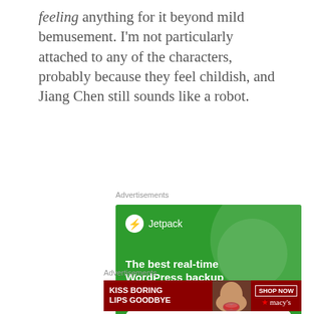feeling anything for it beyond mild bemusement. I'm not particularly attached to any of the characters, probably because they feel childish, and Jiang Chen still sounds like a robot.
Advertisements
[Figure (illustration): Jetpack advertisement banner with green background, Jetpack logo, tagline 'The best real-time WordPress backup plugin', and 'Back up your site' button]
Advertisements
[Figure (illustration): Macy's advertisement banner with dark red background, 'KISS BORING LIPS GOODBYE', SHOP NOW button, and Macy's logo with star]